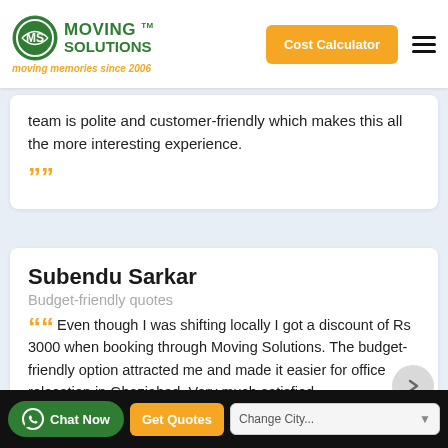Moving Solutions — moving memories since 2006 | Cost Calculator
team is polite and customer-friendly which makes this all the more interesting experience.
Subendu Sarkar
Budget-friendly quotes
Even though I was shifting locally I got a discount of Rs 3000 when booking through Moving Solutions. The budget-friendly option attracted me and made it easier for office relocation in Ghaziabad. Very much satisfied
Chat Now | Get Quotes | Change City...